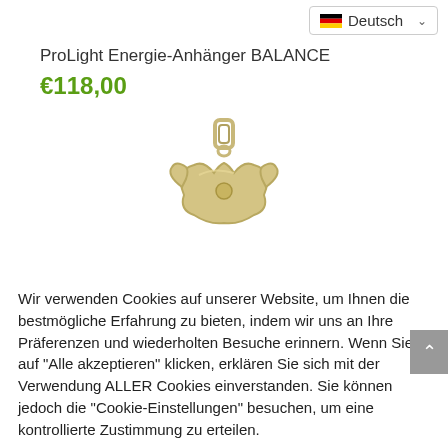Deutsch
ProLight Energie-Anhänger BALANCE
€118,00
[Figure (photo): A gold/silver metallic jewelry pendant with a decorative shape, hanging from a small bail, against a white background.]
Wir verwenden Cookies auf unserer Website, um Ihnen die bestmögliche Erfahrung zu bieten, indem wir uns an Ihre Präferenzen und wiederholten Besuche erinnern. Wenn Sie auf "Alle akzeptieren" klicken, erklären Sie sich mit der Verwendung ALLER Cookies einverstanden. Sie können jedoch die "Cookie-Einstellungen" besuchen, um eine kontrollierte Zustimmung zu erteilen.
Cookie Einstellungen
Alle Akzeptieren